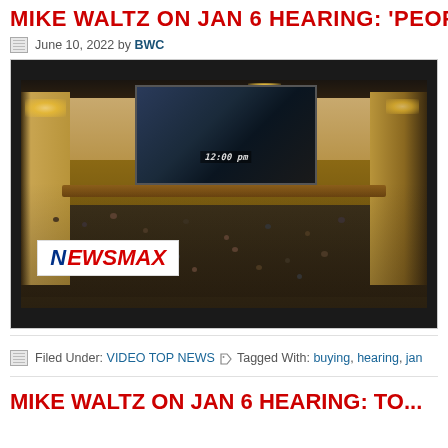MIKE WALTZ ON JAN 6 HEARING: 'PEOP
June 10, 2022 by BWC
[Figure (photo): Wide shot of a congressional hearing room filled with attendees, a projection screen showing a speaker at a podium with timestamp 12:00 pm, ornate chandelier and wood-paneled walls, with a Newsmax logo overlay in the lower left corner.]
Filed Under: VIDEO TOP NEWS  Tagged With: buying, hearing, jan
MIKE WALTZ ON JAN 6 HEARING: TO...